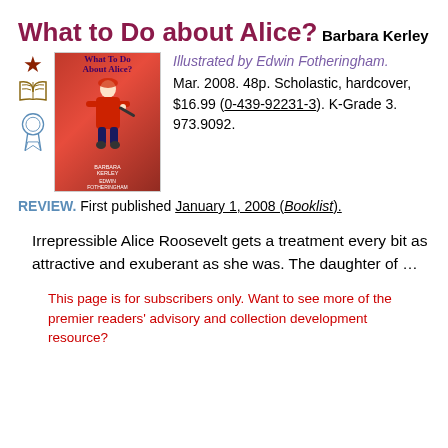What to Do about Alice?
Barbara Kerley
[Figure (illustration): Book cover of 'What To Do About Alice?' showing a girl in red dress running, with icons: star, open book, and award ribbon]
Illustrated by Edwin Fotheringham. Mar. 2008. 48p. Scholastic, hardcover, $16.99 (0-439-92231-3). K-Grade 3. 973.9092.
REVIEW. First published January 1, 2008 (Booklist).
Irrepressible Alice Roosevelt gets a treatment every bit as attractive and exuberant as she was. The daughter of ...
This page is for subscribers only. Want to see more of the premier readers' advisory and collection development resource?